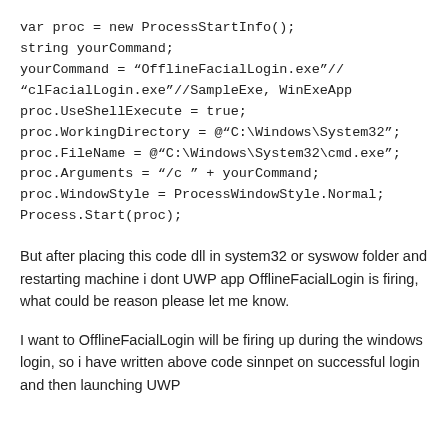var proc = new ProcessStartInfo();
string yourCommand;
yourCommand = "OfflineFacialLogin.exe";//
"clFacialLogin.exe";//SampleExe, WinExeApp
proc.UseShellExecute = true;
proc.WorkingDirectory = @"C:\Windows\System32";
proc.FileName = @"C:\Windows\System32\cmd.exe";
proc.Arguments = "/c " + yourCommand;
proc.WindowStyle = ProcessWindowStyle.Normal;
Process.Start(proc);
But after placing this code dll in system32 or syswow folder and restarting machine i dont UWP app OfflineFacialLogin is firing, what could be reason please let me know.
I want to OfflineFacialLogin will be firing up during the windows login, so i have written above code sinnpet on successful login and then launching UWP